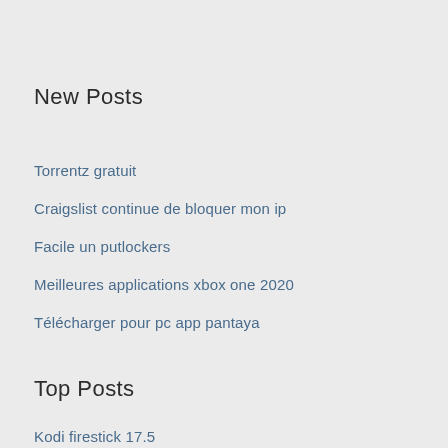New Posts
Torrentz gratuit
Craigslist continue de bloquer mon ip
Facile un putlockers
Meilleures applications xbox one 2020
Télécharger pour pc app pantaya
Top Posts
Kodi firestick 17.5